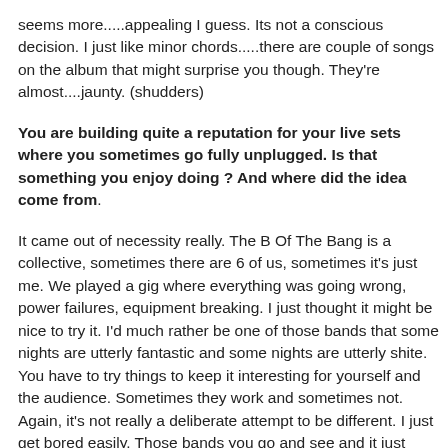seems more.....appealing I guess. Its not a conscious decision. I just like minor chords.....there are couple of songs on the album that might surprise you though. They're almost....jaunty. (shudders)
You are building quite a reputation for your live sets where you sometimes go fully unplugged. Is that something you enjoy doing ? And where did the idea come from.
It came out of necessity really. The B Of The Bang is a collective, sometimes there are 6 of us, sometimes it's just me. We played a gig where everything was going wrong, power failures, equipment breaking. I just thought it might be nice to try it. I'd much rather be one of those bands that some nights are utterly fantastic and some nights are utterly shite. You have to try things to keep it interesting for yourself and the audience. Sometimes they work and sometimes not. Again, it's not really a deliberate attempt to be different. I just get bored easily. Those bands you go and see and it just sounds like they've put the record on, I sort of think "what's the point?"